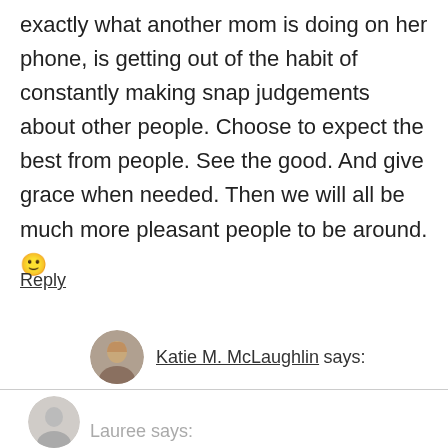exactly what another mom is doing on her phone, is getting out of the habit of constantly making snap judgements about other people. Choose to expect the best from people. See the good. And give grace when needed. Then we will all be much more pleasant people to be around. 🙂
Reply
Katie M. McLaughlin says:
Amen! Well-said!
Reply
Lauree says: